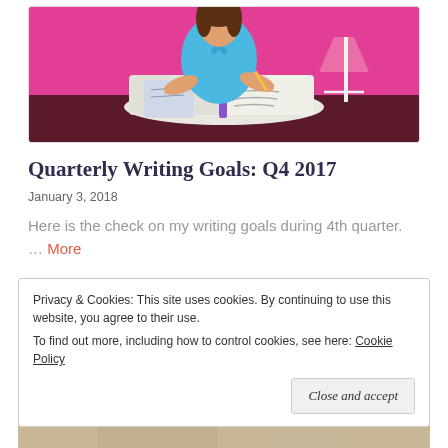[Figure (illustration): Illustration of a woman in a blue top sitting at a desk writing in an open book, with a lamp shining light, pink background.]
Quarterly Writing Goals: Q4 2017
January 3, 2018
Here is the check on my writing goals during 4th quarter. … More
Privacy & Cookies: This site uses cookies. By continuing to use this website, you agree to their use.
To find out more, including how to control cookies, see here: Cookie Policy
Close and accept
[Figure (photo): Partial bottom image, appears to be a photo, partially cut off at bottom of page.]